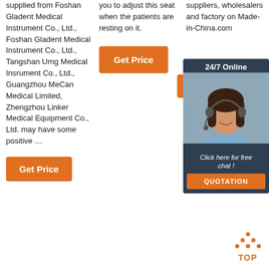supplied from Foshan Gladent Medical Instrument Co., Ltd., Foshan Gladent Medical Instrument Co., Ltd., Tangshan Umg Medical Insrument Co., Ltd., Guangzhou MeCan Medical Limited, Zhengzhou Linker Medical Equipment Co., Ltd. may have some positive …
you to adjust this seat when the patients are resting on it.
suppliers, wholesalers and factory on Made-in-China.com
[Figure (other): Orange 'Get Price' button in column 2]
[Figure (other): Orange 'Get' button partially visible in column 3 beside chat box]
[Figure (other): 24/7 Online chat box with agent photo, 'Click here for free chat!' text, and QUOTATION button]
[Figure (other): Orange 'Get Price' button at bottom of column 1]
[Figure (other): TOP button with orange dots icon at bottom right]